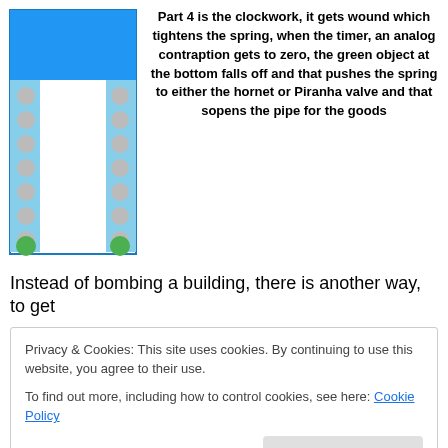[Figure (schematic): A vertical pipe/tube diagram with light blue fill, white inner column, gray circular dots along the left and right sides representing bolts or connectors, and two green circles at the bottom left and right corners. The top portion has a solid blue rectangle.]
Part 4 is the clockwork, it gets wound which tightens the spring, when the timer, an analog contraption gets to zero, the green object at the bottom falls off and that pushes the spring to either the hornet or Piranha valve and that sopens the pipe for the goods
Instead of bombing a building, there is another way, to get
Privacy & Cookies: This site uses cookies. By continuing to use this website, you agree to their use.
To find out more, including how to control cookies, see here: Cookie Policy
Close and accept
tion...